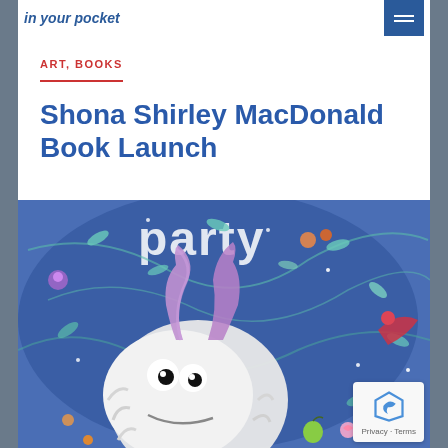in your pocket
ART, BOOKS
Shona Shirley MacDonald Book Launch
[Figure (illustration): Colorful children's book illustration showing a fluffy white monster creature with large eyes, purple twisted horns, surrounded by various small whimsical characters, insects, birds, flowers, leaves and party elements on a deep blue background. The word 'party' is partially visible at the top.]